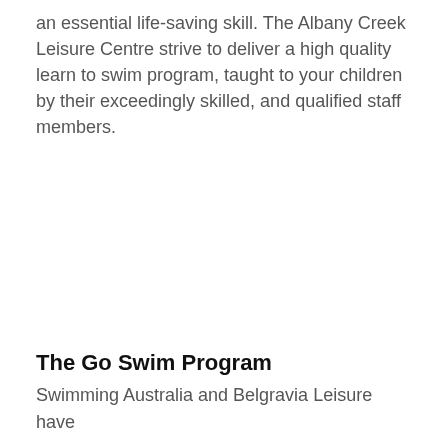an essential life-saving skill. The Albany Creek Leisure Centre strive to deliver a high quality learn to swim program, taught to your children by their exceedingly skilled, and qualified staff members.
The Go Swim Program
Swimming Australia and Belgravia Leisure have